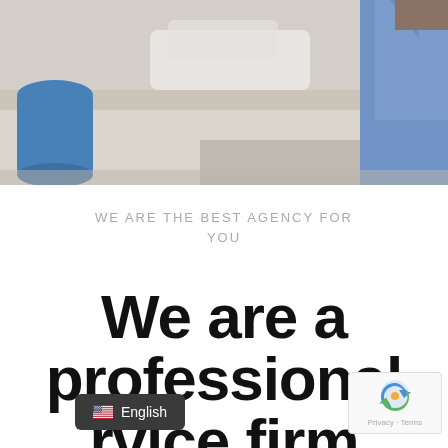[Figure (photo): Blurred outdoor background with a person in a blue jacket visible on the right side, a blue barrel on the left, and a light-colored ground/pavement area.]
WE ARE THE BEST AGENCY FOR YOU
We are a professional service firm
English
[Figure (logo): reCAPTCHA badge with logo, Privacy and Terms links.]